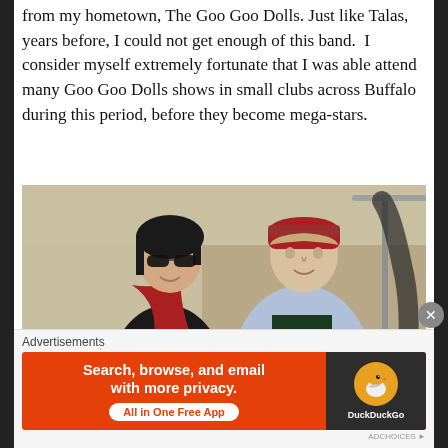from my hometown, The Goo Goo Dolls. Just like Talas, years before, I could not get enough of this band. I consider myself extremely fortunate that I was able attend many Goo Goo Dolls shows in small clubs across Buffalo during this period, before they become mega-stars.
[Figure (photo): Two men posing together. The person on the left wears a black leather jacket, red scarf, and dark sunglasses with dark hair. The person on the right wears a light denim jacket over a dark t-shirt and a red backwards cap.]
Advertisements
[Figure (screenshot): DuckDuckGo advertisement banner with orange background. Text reads: 'Search, browse, and email with more privacy. All in One Free App'. DuckDuckGo logo on dark right panel.]